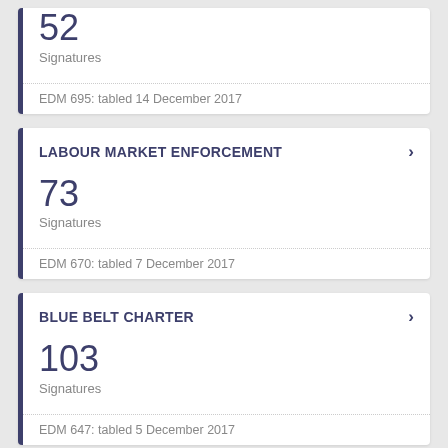52
Signatures
EDM 695: tabled 14 December 2017
LABOUR MARKET ENFORCEMENT
73
Signatures
EDM 670: tabled 7 December 2017
BLUE BELT CHARTER
103
Signatures
EDM 647: tabled 5 December 2017